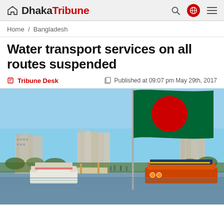Dhaka Tribune
Home / Bangladesh
Water transport services on all routes suspended
Tribune Desk   Published at 09:07 pm May 29th, 2017
[Figure (photo): Bangladesh flag waving on a boat at a river dock, with buildings and river vessels in the background]